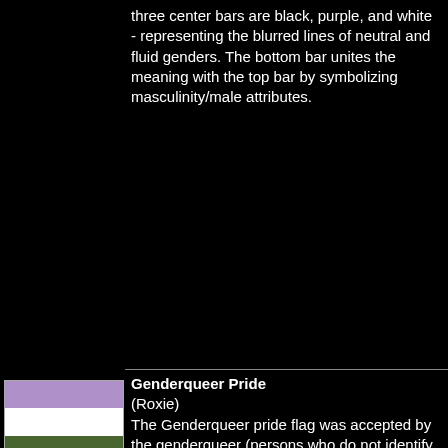three center bars are black, purple, and white - representing the blurred lines of neutral and fluid genders. The bottom bar unites the meaning with the top bar by symbolizing masculinity/male attributes.
[Figure (illustration): Genderqueer Pride flag with three horizontal stripes: top lavender/purple, middle white, bottom olive green]
Genderqueer Pride (Roxie) The Genderqueer pride flag was accepted by the genderqueer (persons who do not identify themselves by one specific gender) community in September of 2010. The field of the flag is divided into three horizontal stripes, the top lavender stripe representing a mix of blue and pink, (traditional male and female colors) meant to represent those under the genderqueer